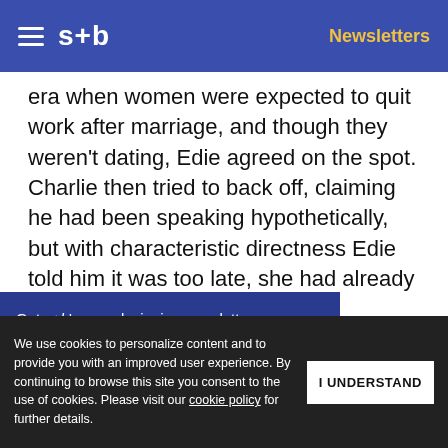s+b  Newsletters
era when women were expected to quit work after marriage, and though they weren't dating, Edie agreed on the spot. Charlie then tried to back off, claiming he had been speaking hypothetically, but with characteristic directness Edie told him it was too late, she had already accepted. Unlike Sandy, Edie [obscured] wn as [obscured] d turn down a
Get s+b's award-winning newsletter delivered to your inbox.
We use cookies to personalize content and to provide you with an improved user experience. By continuing to browse this site you consent to the use of cookies. Please visit our cookie policy for further details.